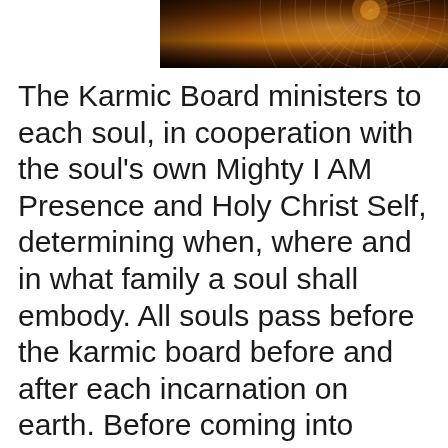[Figure (photo): A dark cosmic/spiritual image showing concentric circular light patterns (resembling a web or mandala) over a dark orange and black background, partially visible at the top of the page.]
The Karmic Board ministers to each soul, in cooperation with the soul's own Mighty I AM Presence and Holy Christ Self, determining when, where and in what family a soul shall embody. All souls pass before the karmic board before and after each incarnation on earth. Before coming into embodiment again, they are given the life mission that